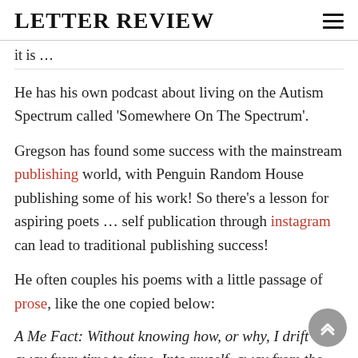LETTER REVIEW
it is …
He has his own podcast about living on the Autism Spectrum called 'Somewhere On The Spectrum'.
Gregson has found some success with the mainstream publishing world, with Penguin Random House publishing some of his work! So there's a lesson for aspiring poets … self publication through instagram can lead to traditional publishing success!
He often couples his poems with a little passage of prose, like the one copied below:
A Me Fact: Without knowing how, or why, I drift away from time to time. Into myself, away from the w… into darkness within me that has been there as long